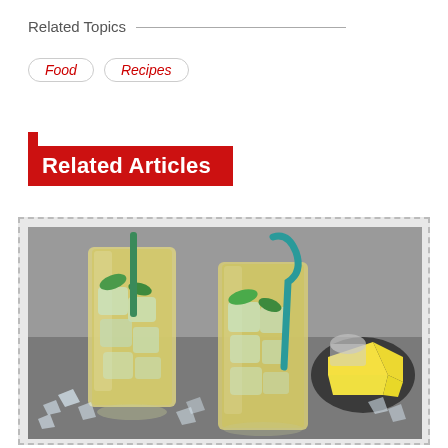Related Topics
Food
Recipes
Related Articles
[Figure (photo): Two tall glasses filled with yellow/green iced drinks with green straws, surrounded by crushed ice. A plate with lemon wedges visible on the right side. Shot on a grey stone surface.]